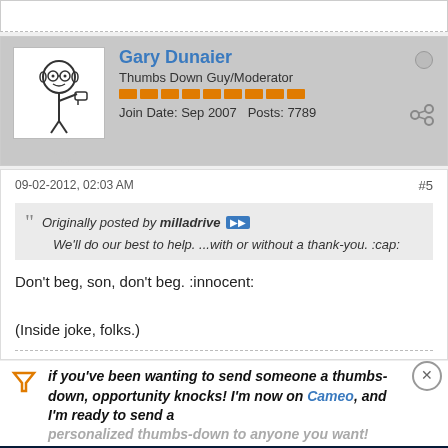[Figure (screenshot): Forum post by Gary Dunaier with avatar of thumbs down cartoon character]
Gary Dunaier
Thumbs Down Guy/Moderator
Join Date: Sep 2007   Posts: 7789
09-02-2012, 02:03 AM
#5
Originally posted by milladrive
We'll do our best to help. ...with or without a thank-you. :cap:
Don't beg, son, don't beg. :innocent:

(Inside joke, folks.)
if you've been wanting to send someone a thumbs-down, opportunity knocks! I'm now on Cameo, and I'm ready to send a personalized thumbs-down to anyone you want!
[Figure (screenshot): Disney Bundle advertisement: GET THE DISNEY BUNDLE with hulu, Disney+, ESPN+ logos]
BIZmaRK